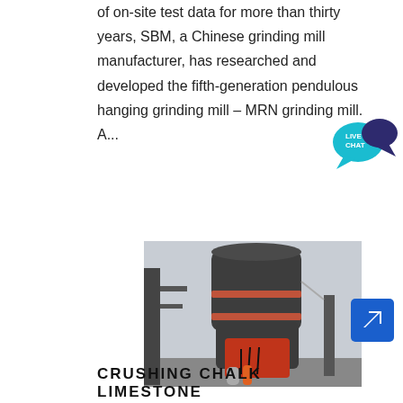of on-site test data for more than thirty years, SBM, a Chinese grinding mill manufacturer, has researched and developed the fifth-generation pendulous hanging grinding mill – MRN grinding mill. A...
[Figure (photo): Large industrial grinding mill machine (MRN grinding mill) with dark gray cylindrical body and red lower assembly, photographed outdoors at an industrial facility.]
CRUSHING CHALK LIMESTONE